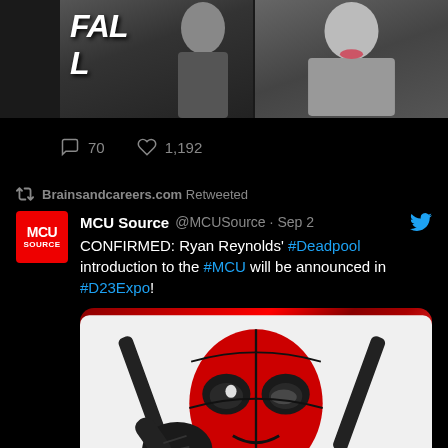[Figure (screenshot): Top portion of a Twitter/social media feed showing bottom of a previous tweet with two celebrity photos and engagement stats: 70 comments, 1,192 likes]
Brainsandcareers.com Retweeted
MCU Source @MCUSource · Sep 2
CONFIRMED: Ryan Reynolds' #Deadpool introduction to the #MCU will be announced in #D23Expo!
[Figure (photo): Photo of Deadpool character in red suit giving thumbs up with katana swords on back, against white background]
98 comments, 13.6K likes